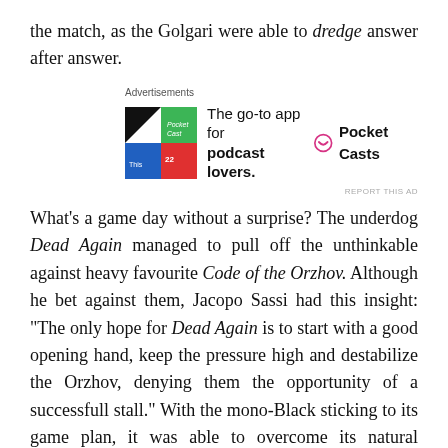the match, as the Golgari were able to dredge answer after answer.
[Figure (other): Advertisement for Pocket Casts app: colorful tile icon, text 'The go-to app for podcast lovers.' and Pocket Casts logo]
What's a game day without a surprise? The underdog Dead Again managed to pull off the unthinkable against heavy favourite Code of the Orzhov. Although he bet against them, Jacopo Sassi had this insight: “The only hope for Dead Again is to start with a good opening hand, keep the pressure high and destabilize the Orzhov, denying them the opportunity of a successfull stall.” With the mono-Black sticking to its game plan, it was able to overcome its natural disadvantage and get there!
There was some movement at the top of the table this